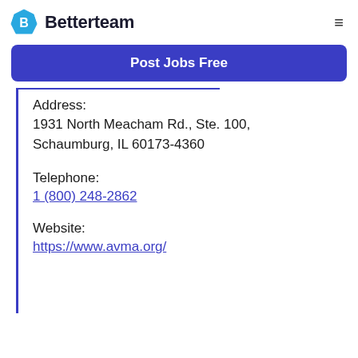Betterteam
Post Jobs Free
Address:
1931 North Meacham Rd., Ste. 100, Schaumburg, IL 60173-4360
Telephone:
1 (800) 248-2862
Website:
https://www.avma.org/